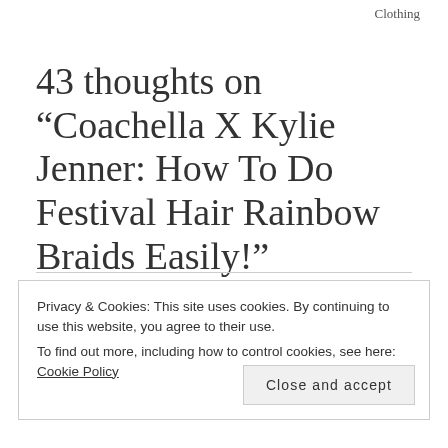Clothing
43 thoughts on “Coachella X Kylie Jenner: How To Do Festival Hair Rainbow Braids Easily!”
Privacy & Cookies: This site uses cookies. By continuing to use this website, you agree to their use.
To find out more, including how to control cookies, see here: Cookie Policy
Close and accept